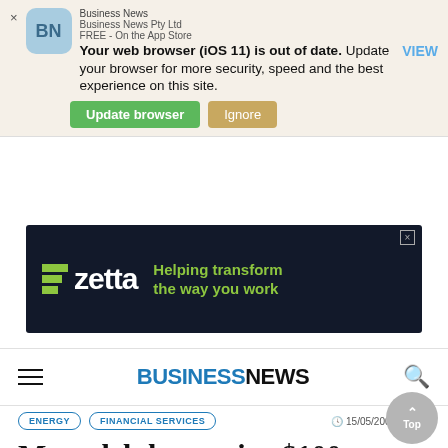Your web browser (iOS 11) is out of date. Update your browser for more security, speed and the best experience on this site.
[Figure (screenshot): Zetta advertisement banner: dark navy background with Zetta logo (green horizontal bars + white wordmark) and green tagline 'Helping transform the way you work']
BUSINESS NEWS
ENERGY   FINANCIAL SERVICES   15/05/2009 - 09:29
Monadelphous wins $100m BHP, Rio deals